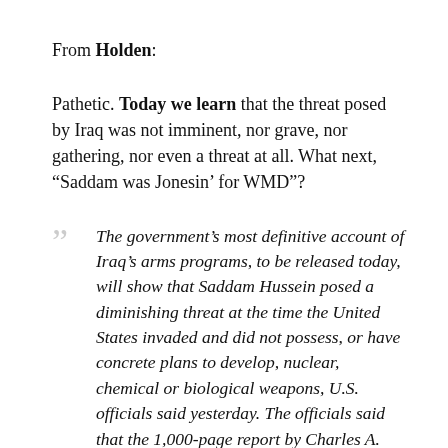From Holden:
Pathetic. Today we learn that the threat posed by Iraq was not imminent, nor grave, nor gathering, nor even a threat at all. What next, “Saddam was Jonesin’ for WMD”?
The government’s most definitive account of Iraq’s arms programs, to be released today, will show that Saddam Hussein posed a diminishing threat at the time the United States invaded and did not possess, or have concrete plans to develop, nuclear, chemical or biological weapons, U.S. officials said yesterday. The officials said that the 1,000-page report by Charles A. Duelfer, the chief U.S. weapons inspector in Iraq, concluded that Hussein had the desire but not the means to produce unconventional weapons that could...